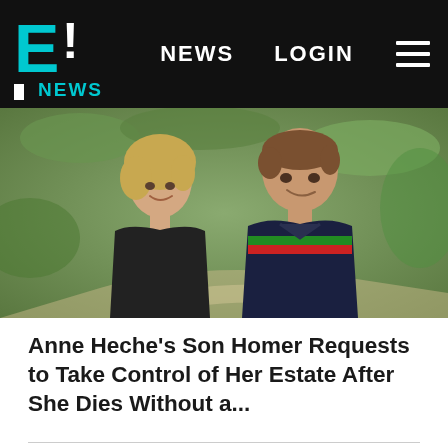E! NEWS   NEWS   LOGIN
[Figure (photo): Photo of Anne Heche and her son Homer, smiling together outdoors in front of greenery. Anne is wearing a black top; Homer is wearing a Gucci polo shirt.]
Anne Heche's Son Homer Requests to Take Control of Her Estate After She Dies Without a...
Social media icons: Facebook, Instagram, Pinterest, Twitter, Snapchat, YouTube